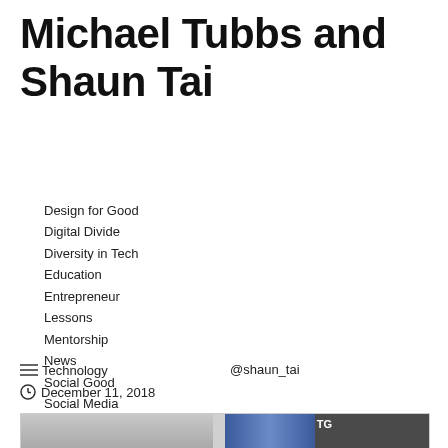Michael Tubbs and Shaun Tai
Design for Good
Digital Divide
Diversity in Tech
Education
Entrepreneur
Lessons
Mentorship
News
Social Good
Social Media
Technology
@shaun_tai
December 11, 2018
[Figure (photo): Photo of person with US flag and magazine in background]